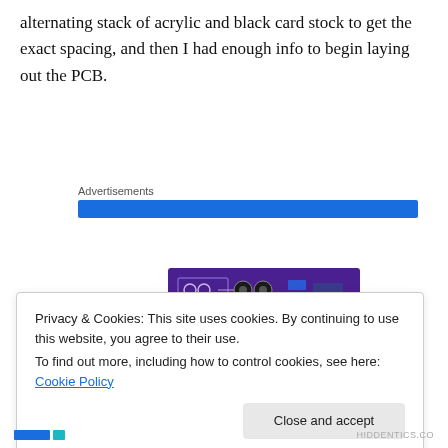alternating stack of acrylic and black card stock to get the exact spacing, and then I had enough info to begin laying out the PCB.
Advertisements
[Figure (screenshot): Blue advertisement banner, partially visible]
[Figure (photo): Purple PCB board with electronic components visible]
Privacy & Cookies: This site uses cookies. By continuing to use this website, you agree to their use.
To find out more, including how to control cookies, see here: Cookie Policy
Close and accept